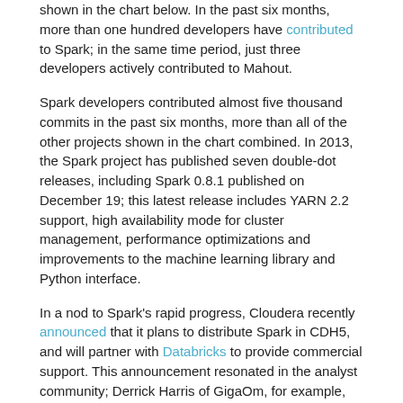shown in the chart below.  In the past six months, more than one hundred developers have contributed to Spark; in the same time period, just three developers actively contributed to Mahout.
Spark developers contributed almost five thousand commits in the past six months, more than all of the other projects shown in the chart combined.   In 2013, the Spark project has published seven double-dot releases, including Spark 0.8.1 published on December 19; this latest release includes YARN 2.2 support, high availability mode for cluster management, performance optimizations and improvements to the machine learning library and Python interface.
In a nod to Spark's rapid progress, Cloudera recently announced that it plans to distribute Spark in CDH5, and will partner with Databricks to provide commercial support. This announcement resonated in the analyst community; Derrick Harris of GigaOm, for example, wrote that “Spark is a really big deal for Big Data, and Cloudera gets it.”
Recently, the first Spark Summit attracted more than 450 participants from more than 180 companies. Presentations covered a range of applications such as neuroscience, audience expansion, real-time network optimization and real-time data center management, together with a range of technical topics.